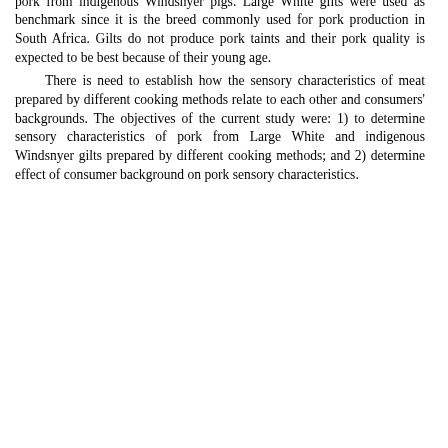pork from indigenous Windsnyer pigs. Large White gilts were used as benchmark since it is the breed commonly used for pork production in South Africa. Gilts do not produce pork taints and their pork quality is expected to be best because of their young age.
There is need to establish how the sensory characteristics of meat prepared by different cooking methods relate to each other and consumers' backgrounds. The objectives of the current study were: 1) to determine sensory characteristics of pork from Large White and indigenous Windsnyer gilts prepared by different cooking methods; and 2) determine effect of consumer background on pork sensory characteristics.